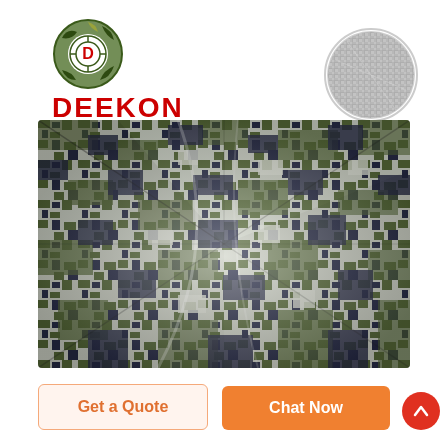[Figure (logo): DEEKON brand logo with camouflage circular icon and red bold text DEEKON]
[Figure (photo): Close-up circular swatch of grey woven fabric texture]
[Figure (photo): Digital camouflage fabric in green, white, and navy pixel pattern, folded to show texture]
Get a Quote
Chat Now